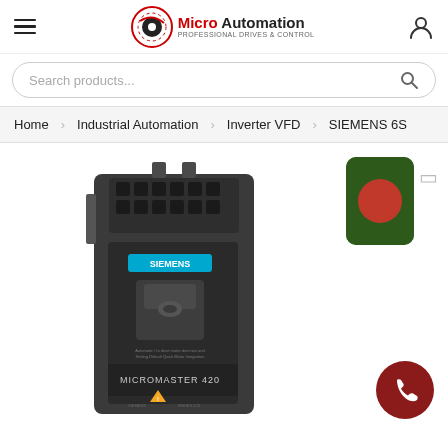Micro Automation — navigation header with hamburger menu and user icon
Search products...
Home | Industrial Automation | Inverter VFD | SIEMENS 6S
[Figure (photo): Siemens Micromaster 420 VFD inverter drive unit, dark grey enclosure with cyan SIEMENS label and yellow warning triangle]
[Figure (photo): Bangladesh flag thumbnail — green background with red circle]
[Figure (photo): Red phone call floating action button]